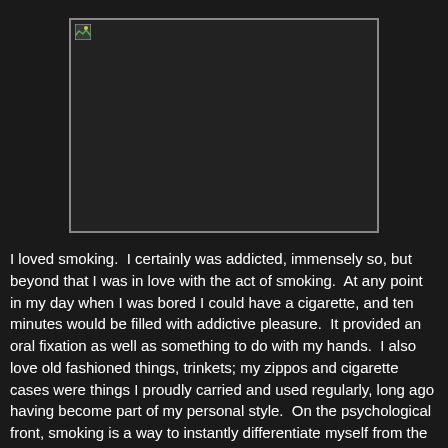[Figure (photo): A dark/black rectangular image placeholder with a small broken image icon in the top-left corner, bordered by a gray frame.]
I loved smoking.  I certainly was addicted, immensely so, but beyond that I was in love with the act of smoking.  At any point in my day when I was bored I could have a cigarette, and ten minutes would be filled with addictive pleasure.  It provided an oral fixation as well as something to do with my hands.  I also love old fashioned things, trinkets; my zippos and cigarette cases were things I proudly carried and used regularly, long ago having become part of my personal style.  On the psychological front, smoking is a way to instantly differentiate myself from the average straight laced Mormon, and growing up and living in Utah, there is value in such a display.